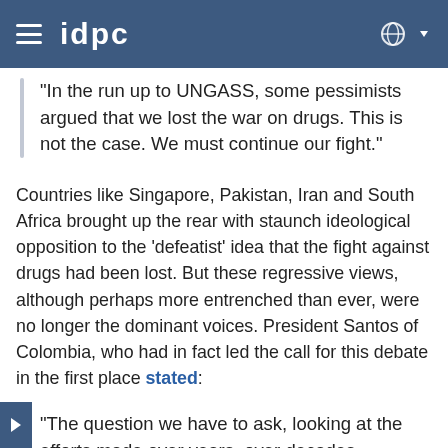idpc
"In the run up to UNGASS, some pessimists argued that we lost the war on drugs. This is not the case. We must continue our fight."
Countries like Singapore, Pakistan, Iran and South Africa brought up the rear with staunch ideological opposition to the 'defeatist' idea that the fight against drugs had been lost. But these regressive views, although perhaps more entrenched than ever, were no longer the dominant voices. President Santos of Colombia, who had in fact led the call for this debate in the first place stated:
"The question we have to ask, looking at the efforts made over years, over decades,